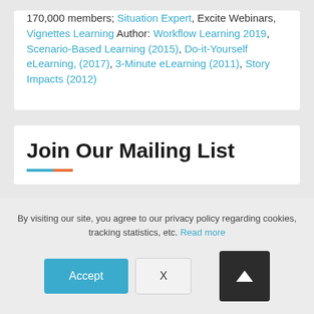170,000 members; Situation Expert, Excite Webinars, Vignettes Learning Author: Workflow Learning 2019, Scenario-Based Learning (2015), Do-it-Yourself eLearning, (2017), 3-Minute eLearning (2011), Story Impacts (2012)
Join Our Mailing List
By visiting our site, you agree to our privacy policy regarding cookies, tracking statistics, etc. Read more